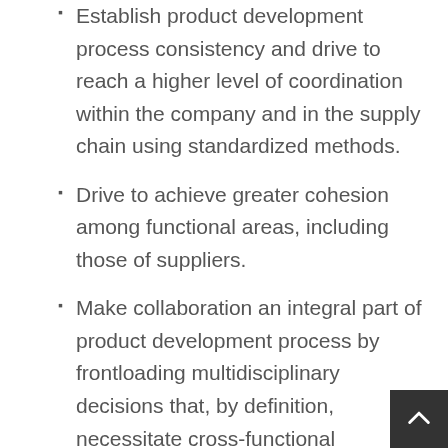Establish product development process consistency and drive to reach a higher level of coordination within the company and in the supply chain using standardized methods.
Drive to achieve greater cohesion among functional areas, including those of suppliers.
Make collaboration an integral part of product development process by frontloading multidisciplinary decisions that, by definition, necessitate cross-functional collaboration.
Articulate a clear value definition for collaboration and publicize tangible benefits achieved through design collaboration and reuse.